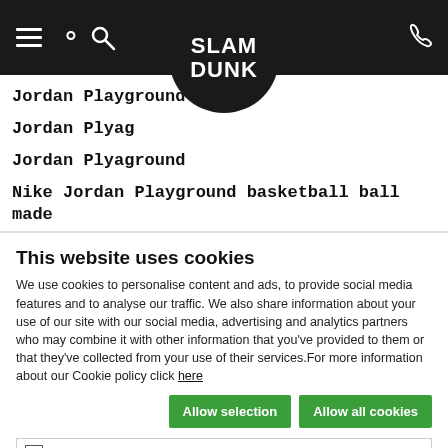[Figure (screenshot): Slam Dunk website navigation bar with hamburger menu, search icon, Slam Dunk logo in circle, and phone icon on black background]
Jordan Playground 8P
Jordan Plyag
Jordan Plyaground
Nike Jordan Playground basketball ball made
This website uses cookies
We use cookies to personalise content and ads, to provide social media features and to analyse our traffic. We also share information about your use of our site with our social media, advertising and analytics partners who may combine it with other information that you've provided to them or that they've collected from your use of their services.For more information about our Cookie policy click here
Allow selection | Allow all cookies
Necessary  Preferences  Statistics  Marketing  Show details